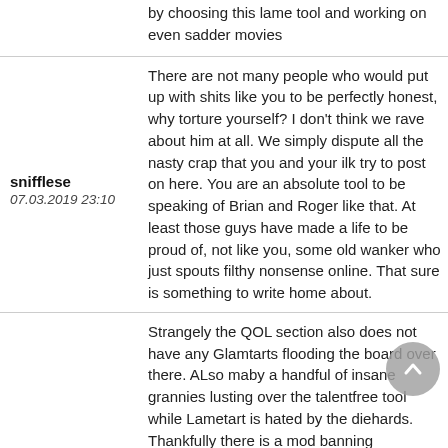by choosing this lame tool and working on even sadder movies
There are not many people who would put up with shits like you to be perfectly honest, why torture yourself? I don't think we rave about him at all. We simply dispute all the nasty crap that you and your ilk try to post on here. You are an absolute tool to be speaking of Brian and Roger like that. At least those guys have made a life to be proud of, not like you, some old wanker who just spouts filthy nonsense online. That sure is something to write home about.
Strangely the QOL section also does not have any Glamtarts flooding the board over there. ALso maby a handful of insane grannies lusting over the talentfree tool while Lametart is hated by the diehards. Thankfully there is a mod banning spamming glamtarts like SC over there. Yeah Maylor can be pround about anything they did after 1995: INsulting Freddie by teaming up with this tool and doing an insulting movie. And you